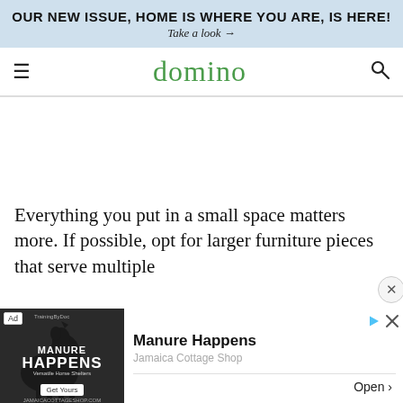OUR NEW ISSUE, HOME IS WHERE YOU ARE, IS HERE!
Take a look →
domino
Everything you put in a small space matters more. If possible, opt for larger furniture pieces that serve multiple
[Figure (other): Advertisement: Manure Happens - Jamaica Cottage Shop. Shows a horse image with 'MANURE HAPPENS' text, 'Get Yours' button, and 'Open >' link.]